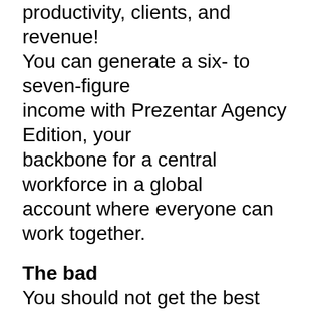productivity, clients, and revenue! You can generate a six- to seven-figure income with Prezentar Agency Edition, your backbone for a central workforce in a global account where everyone can work together.
The bad
You should not get the best features behind upsells.
The good
Zero learning curve
This tool is far more affordable than any other presentation tool
Unlimitted use
All in one solution
The amazing
Ready-made presentations make it easy and fast.